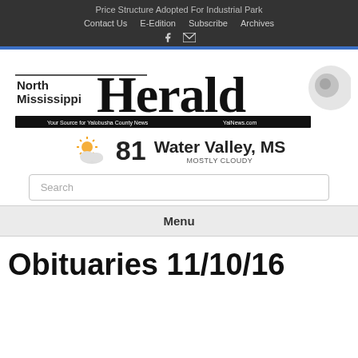Price Structure Adopted For Industrial Park
Contact Us  E-Edition  Subscribe  Archives
[Figure (logo): North Mississippi Herald newspaper logo with tagline 'Your Source for Yalobusha County News' and YalNews.com]
81  Water Valley, MS  MOSTLY CLOUDY
Search
Menu
Obituaries 11/10/16